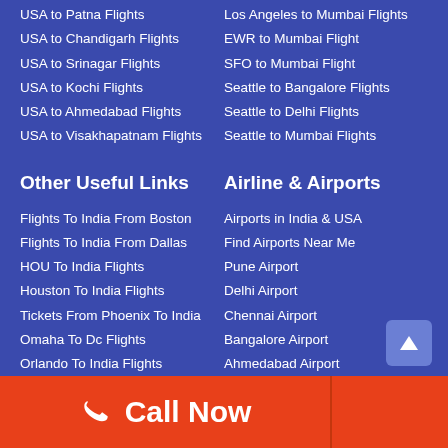USA to Patna Flights
Los Angeles to Mumbai Flights
USA to Chandigarh Flights
EWR to Mumbai Flight
USA to Srinagar Flights
SFO to Mumbai Flight
USA to Kochi Flights
Seattle to Bangalore Flights
USA to Ahmedabad Flights
Seattle to Delhi Flights
USA to Visakhapatnam Flights
Seattle to Mumbai Flights
Other Useful Links
Airline & Airports
Flights To India From Boston
Airports in India & USA
Flights To India From Dallas
Find Airports Near Me
HOU To India Flights
Pune Airport
Houston To India Flights
Delhi Airport
Tickets From Phoenix To India
Chennai Airport
Omaha To Dc Flights
Bangalore Airport
Orlando To India Flights
Ahmedabad Airport
SFO To India Flights
Mumbai Airport
Tampa To India Flights
Atlanta Airport
Call Now